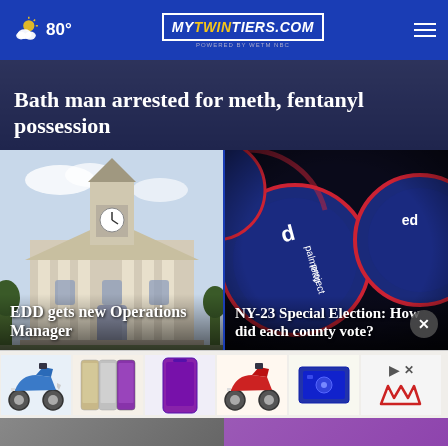80° | mytwintiers.com | WETM
Bath man arrested for meth, fentanyl possession
[Figure (photo): Photo of a courthouse building with a clock tower]
EDD gets new Operations Manager
[Figure (photo): Close-up photo of voting stickers, blue circular stickers with text]
NY-23 Special Election: How did each county vote?
[Figure (photo): Advertisement strip showing electric scooters, smartphones, and other products]